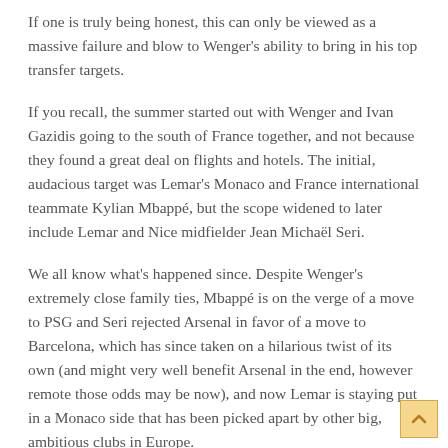If one is truly being honest, this can only be viewed as a massive failure and blow to Wenger's ability to bring in his top transfer targets.
If you recall, the summer started out with Wenger and Ivan Gazidis going to the south of France together, and not because they found a great deal on flights and hotels. The initial, audacious target was Lemar's Monaco and France international teammate Kylian Mbappé, but the scope widened to later include Lemar and Nice midfielder Jean Michaël Seri.
We all know what's happened since. Despite Wenger's extremely close family ties, Mbappé is on the verge of a move to PSG and Seri rejected Arsenal in favor of a move to Barcelona, which has since taken on a hilarious twist of its own (and might very well benefit Arsenal in the end, however remote those odds may be now), and now Lemar is staying put in a Monaco side that has been picked apart by other big, ambitious clubs in Europe.